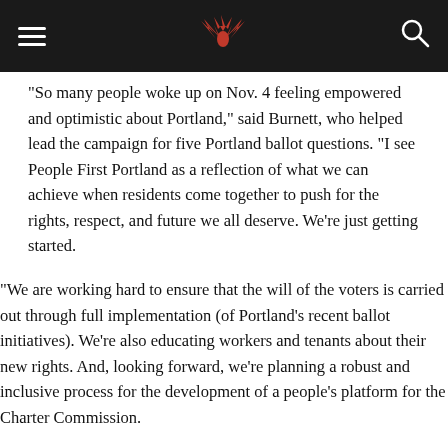[hamburger menu] [bird logo] [search icon]
“So many people woke up on Nov. 4 feeling empowered and optimistic about Portland,” said Burnett, who helped lead the campaign for five Portland ballot questions. “I see People First Portland as a reflection of what we can achieve when residents come together to push for the rights, respect, and future we all deserve. We’re just getting started.
“We are working hard to ensure that the will of the voters is carried out through full implementation (of Portland's recent ballot initiatives). We’re also educating workers and tenants about their new rights. And, looking forward, we’re planning a robust and inclusive process for the development of a people’s platform for the Charter Commission.
“I honestly think something will have to break before the current city government recognizes that residents have the